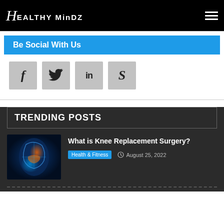Healthy MinDZ
Be Social With Us
[Figure (infographic): Four social media icon boxes: Facebook (f), Twitter (bird), LinkedIn (in), Skype (S) on grey square backgrounds]
TRENDING POSTS
[Figure (photo): Medical illustration of a knee joint with glowing blue and orange highlights showing knee anatomy]
What is Knee Replacement Surgery?
Health & Fitness   August 25, 2022